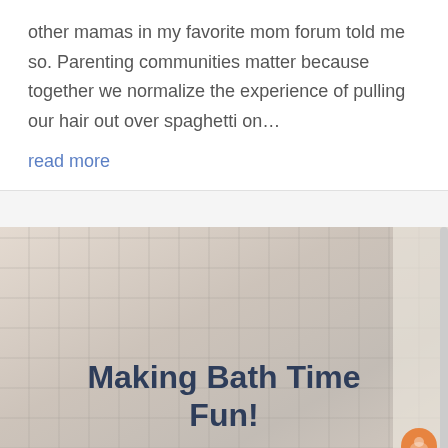other mamas in my favorite mom forum told me so. Parenting communities matter because together we normalize the experience of pulling our hair out over spaghetti on…
read more
[Figure (photo): A mother bathing a young child in a bathtub in a bathroom with tiled walls. The image is slightly blurred/faded with a light overlay. Text overlay reads 'Making Bath Time Fun!']
Making Bath Time Fun!